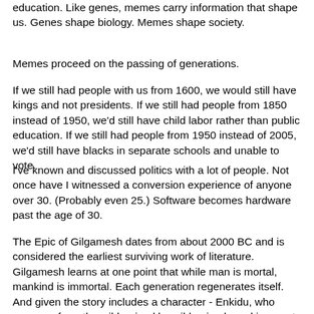education. Like genes, memes carry information that shape us. Genes shape biology. Memes shape society.
Memes proceed on the passing of generations.
If we still had people with us from 1600, we would still have kings and not presidents. If we still had people from 1850 instead of 1950, we'd still have child labor rather than public education. If we still had people from 1950 instead of 2005, we'd still have blacks in separate schools and unable to vote.
I've known and discussed politics with a lot of people. Not once have I witnessed a conversion experience of anyone over 30. (Probably even 25.) Software becomes hardware past the age of 30.
The Epic of Gilgamesh dates from about 2000 BC and is considered the earliest surviving work of literature. Gilgamesh learns at one point that while man is mortal, mankind is immortal. Each generation regenerates itself. And given the story includes a character - Enkidu, who emerges from the wild, raised by wild animals and ignorant of